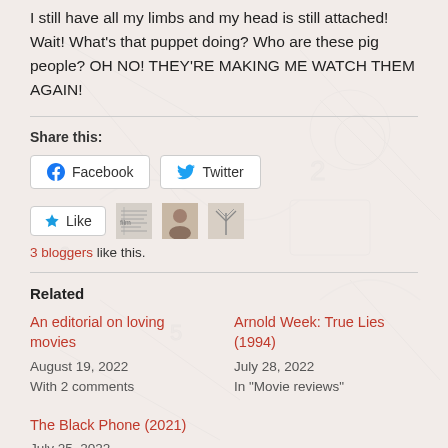I still have all my limbs and my head is still attached! Wait! What's that puppet doing? Who are these pig people? OH NO! THEY'RE MAKING ME WATCH THEM AGAIN!
Share this:
[Figure (other): Facebook and Twitter share buttons]
[Figure (other): Like button with star icon and 3 blogger avatars]
3 bloggers like this.
Related
An editorial on loving movies
August 19, 2022
With 2 comments
Arnold Week: True Lies (1994)
July 28, 2022
In "Movie reviews"
The Black Phone (2021)
July 25, 2022